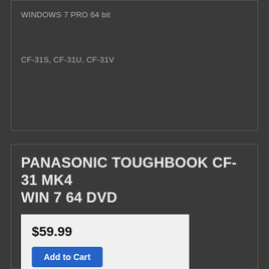WINDOWS 7 PRO 64 bit
CF-31S, CF-31U, CF-31V
PANASONIC TOUGHBOOK CF-31 MK4 WIN 7 64 DVD
$59.99
Add to Cart
DVD DISC
MK4-7PM64
DFQM8604LA
WINDOWS 7 PRO 64 bit